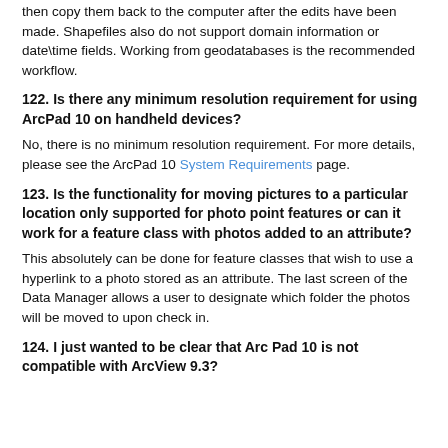then copy them back to the computer after the edits have been made. Shapefiles also do not support domain information or date\time fields. Working from geodatabases is the recommended workflow.
122. Is there any minimum resolution requirement for using ArcPad 10 on handheld devices?
No, there is no minimum resolution requirement. For more details, please see the ArcPad 10 System Requirements page.
123. Is the functionality for moving pictures to a particular location only supported for photo point features or can it work for a feature class with photos added to an attribute?
This absolutely can be done for feature classes that wish to use a hyperlink to a photo stored as an attribute. The last screen of the Data Manager allows a user to designate which folder the photos will be moved to upon check in.
124. I just wanted to be clear that Arc Pad 10 is not compatible with ArcView 9.3?